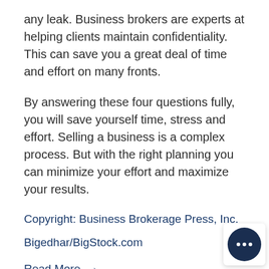any leak. Business brokers are experts at helping clients maintain confidentiality. This can save you a great deal of time and effort on many fronts.
By answering these four questions fully, you will save yourself time, stress and effort. Selling a business is a complex process. But with the right planning you can minimize your effort and maximize your results.
Copyright: Business Brokerage Press, Inc.
Bigedhar/BigStock.com
Read More  →